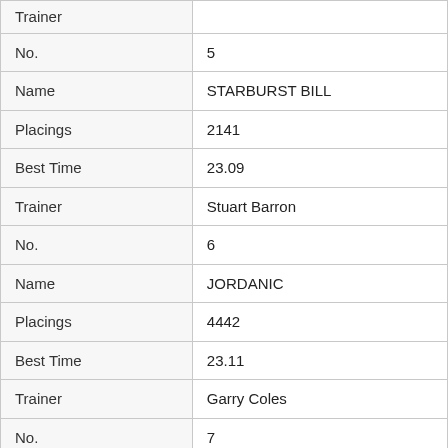| Trainer |  |
| No. | 5 |
| Name | STARBURST BILL |
| Placings | 2141 |
| Best Time | 23.09 |
| Trainer | Stuart Barron |
| No. | 6 |
| Name | JORDANIC |
| Placings | 4442 |
| Best Time | 23.11 |
| Trainer | Garry Coles |
| No. | 7 |
| Name | SEISMIC BLAST |
| Placings | 4231 |
| Best Time | 22.98 |
| Trainer | Allan Laverty |
| No. | 8 |
| Name | MADE FIRST |